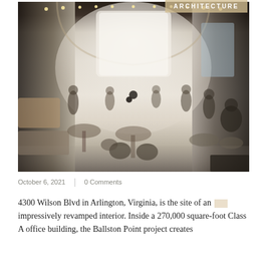[Figure (photo): Interior render of a modern Class A office building lobby at 4300 Wilson Blvd (Ballston Point), Arlington, Virginia. The space features a curved white ceiling, warm lighting, lounge furniture, and people mingling or seated throughout the open lobby area.]
ARCHITECTURE
October 6, 2021     /     0 Comments
4300 Wilson Blvd in Arlington, Virginia, is the site of an impressively revamped interior. Inside a 270,000 square-foot Class A office building, the Ballston Point project creates